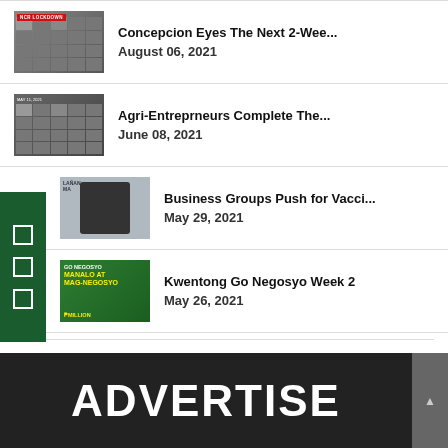[Figure (photo): Thumbnail of online meeting/video call grid with red lockdown label]
Concepcion Eyes The Next 2-Wee...
August 06, 2021
[Figure (photo): Thumbnail of online meeting/video call grid with date label]
Agri-Entreprneurs Complete The...
June 08, 2021
[Figure (photo): Thumbnail of a speaker at a press conference]
Business Groups Push for Vacci...
May 29, 2021
[Figure (photo): Thumbnail of Kwentong Go Negosyo green promotional image]
Kwentong Go Negosyo Week 2
May 26, 2021
[Figure (other): Advertise banner with dark background and white bold ADVERTISE text]